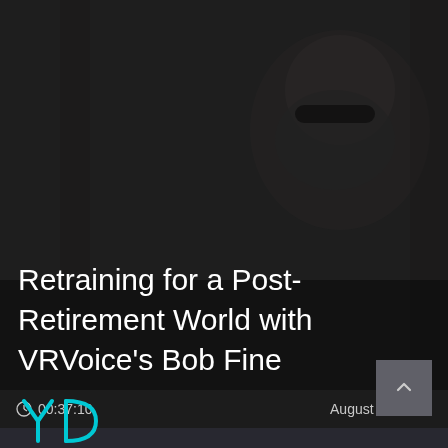[Figure (photo): Black and white photo of a man with beard and sunglasses, dimly lit, with a dark overlay]
Retraining for a Post-Retirement World with VRVoice's Bob Fine
00:37:10
August 07, 2019
[Figure (logo): YD logo in cyan/turquoise color at bottom left]